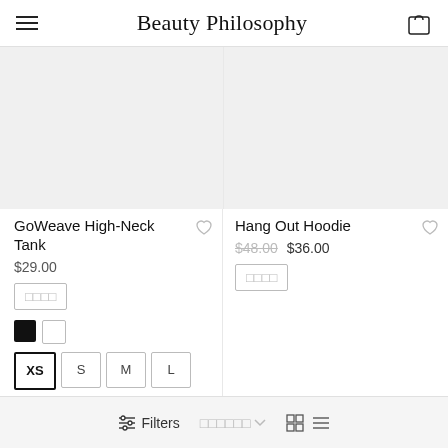Beauty Philosophy
[Figure (screenshot): Product image placeholder for GoWeave High-Neck Tank (light gray background)]
[Figure (screenshot): Product image placeholder for Hang Out Hoodie (light gray background)]
GoWeave High-Neck Tank
$29.00
Hang Out Hoodie
$48.00  $36.00
Filters  □□□□□□ ∨  ⊞ ≡